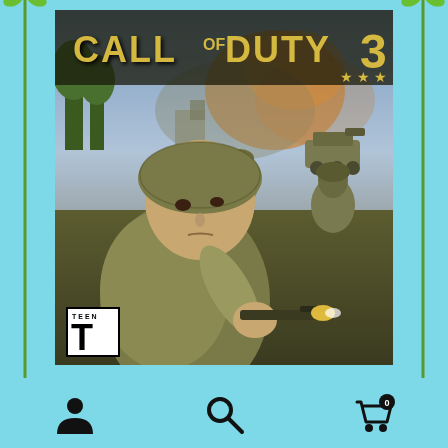[Figure (screenshot): Call of Duty 3 video game box art showing WWII soldiers in combat, with the title 'CALL OF DUTY 3' at the top and a TEEN ESRB rating in the bottom left. Decorative green vine borders on left and right sides. Bottom toolbar with account, search, and cart icons on a light blue background.]